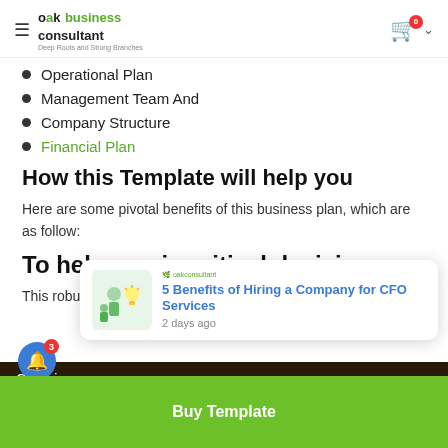OAK business consultant — navigation header with cart (0 items)
Operational Plan
Management Team And
Company Structure
Financial Plan
How this Template will help you
Here are some pivotal benefits of this business plan, which are as follow:
To help you in critical decisions.
This robust business plan can do a forcing function—you
Get this
Buy Template
[Figure (screenshot): Notification popup: '5 Benefits of Hiring a Company for CFO Services' posted 2 days ago, with a thumbnail image showing people and lightbulb icons]